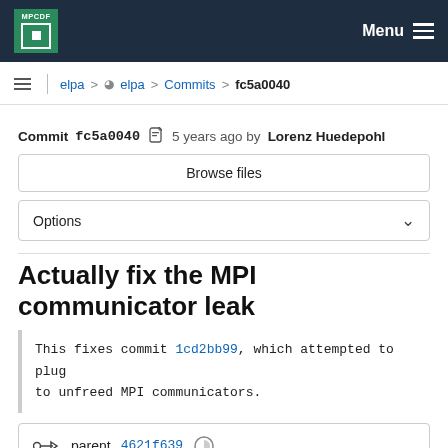MPCDF logo | Menu
elpa > elpa > Commits > fc5a0040
Commit fc5a0040  5 years ago by Lorenz Huedepohl
Browse files
Options
Actually fix the MPI communicator leak
This fixes commit 1cd2bb99, which attempted to plug to unfreed MPI communicators.
parent 4621f639